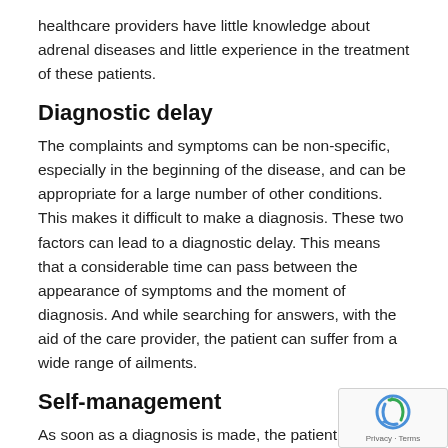healthcare providers have little knowledge about adrenal diseases and little experience in the treatment of these patients.
Diagnostic delay
The complaints and symptoms can be non-specific, especially in the beginning of the disease, and can be appropriate for a large number of other conditions. This makes it difficult to make a diagnosis. These two factors can lead to a diagnostic delay. This means that a considerable time can pass between the appearance of symptoms and the moment of diagnosis. And while searching for answers, with the aid of the care provider, the patient can suffer from a wide range of ailments.
Self-management
As soon as a diagnosis is made, the patient can once take more control of his own life. With the right medication, intervention and guidance, a reasonable to